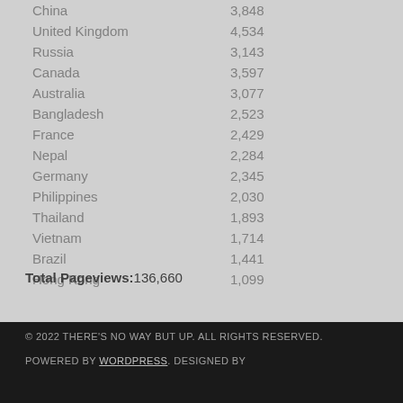| Country | Pageviews |
| --- | --- |
| China | 3,848 |
| United Kingdom | 4,534 |
| Russia | 3,143 |
| Canada | 3,597 |
| Australia | 3,077 |
| Bangladesh | 2,523 |
| France | 2,429 |
| Nepal | 2,284 |
| Germany | 2,345 |
| Philippines | 2,030 |
| Thailand | 1,893 |
| Vietnam | 1,714 |
| Brazil | 1,441 |
| Hong Kong | 1,099 |
Total Pageviews: 136,660
© 2022 THERE'S NO WAY BUT UP. ALL RIGHTS RESERVED. POWERED BY WORDPRESS. DESIGNED BY